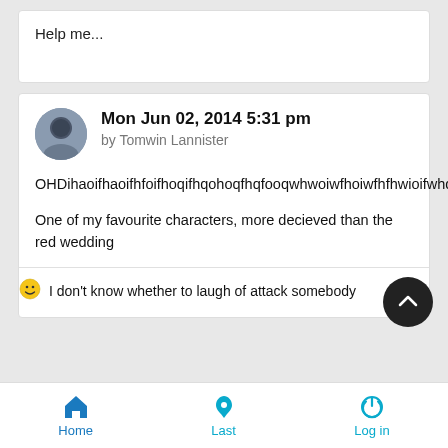Help me...
Mon Jun 02, 2014 5:31 pm
by Tomwin Lannister
OHDihaoifhaoifhfoifhoqifhqohoqfhqfooqwhwoiwfhoiwfhfhwioifwhqofh
One of my favourite characters, more decieved than the red wedding
I don't know whether to laugh of attack somebody
Home  Last  Log in